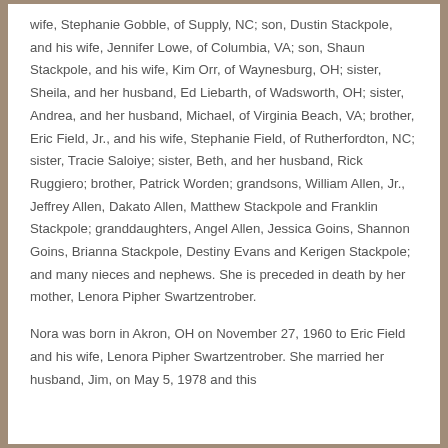wife, Stephanie Gobble, of Supply, NC; son, Dustin Stackpole, and his wife, Jennifer Lowe, of Columbia, VA; son, Shaun Stackpole, and his wife, Kim Orr, of Waynesburg, OH; sister, Sheila, and her husband, Ed Liebarth, of Wadsworth, OH; sister, Andrea, and her husband, Michael, of Virginia Beach, VA; brother, Eric Field, Jr., and his wife, Stephanie Field, of Rutherfordton, NC; sister, Tracie Saloiye; sister, Beth, and her husband, Rick Ruggiero; brother, Patrick Worden; grandsons, William Allen, Jr., Jeffrey Allen, Dakato Allen, Matthew Stackpole and Franklin Stackpole; granddaughters, Angel Allen, Jessica Goins, Shannon Goins, Brianna Stackpole, Destiny Evans and Kerigen Stackpole; and many nieces and nephews. She is preceded in death by her mother, Lenora Pipher Swartzentrober.
Nora was born in Akron, OH on November 27, 1960 to Eric Field and his wife, Lenora Pipher Swartzentrober. She married her husband, Jim, on May 5, 1978 and this